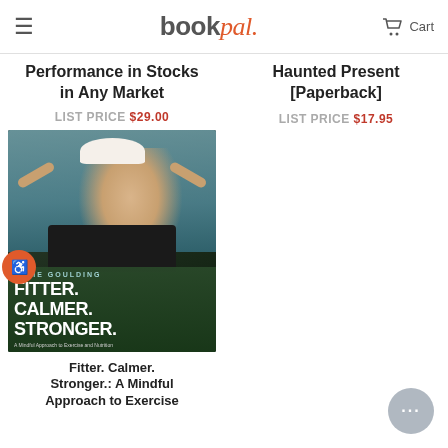☰  bookpal.  Cart
Performance in Stocks in Any Market
LIST PRICE $29.00
[Figure (photo): Book cover: Fitter. Calmer. Stronger. by Ellie Goulding — woman with blonde hair and white beanie, arms raised behind head, dark background near water]
Fitter. Calmer. Stronger.: A Mindful Approach to Exercise
Haunted Present [Paperback]
LIST PRICE $17.95